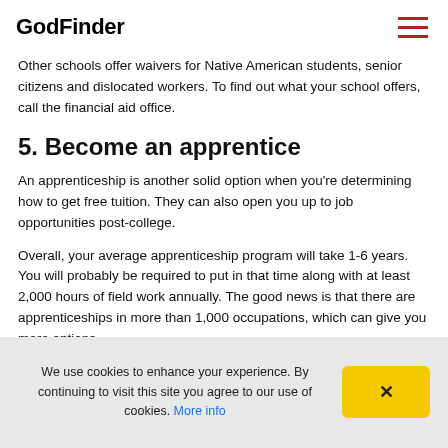GodFinder
Other schools offer waivers for Native American students, senior citizens and dislocated workers. To find out what your school offers, call the financial aid office.
5. Become an apprentice
An apprenticeship is another solid option when you're determining how to get free tuition. They can also open you up to job opportunities post-college.
Overall, your average apprenticeship program will take 1-6 years. You will probably be required to put in that time along with at least 2,000 hours of field work annually. The good news is that there are apprenticeships in more than 1,000 occupations, which can give you more options.
We use cookies to enhance your experience. By continuing to visit this site you agree to our use of cookies. More info